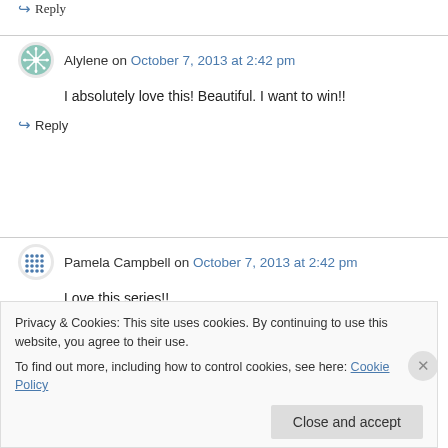↪ Reply
Alylene on October 7, 2013 at 2:42 pm
I absolutely love this! Beautiful. I want to win!!
↪ Reply
Pamela Campbell on October 7, 2013 at 2:42 pm
Love this series!!
↪ Reply
Privacy & Cookies: This site uses cookies. By continuing to use this website, you agree to their use. To find out more, including how to control cookies, see here: Cookie Policy
Close and accept